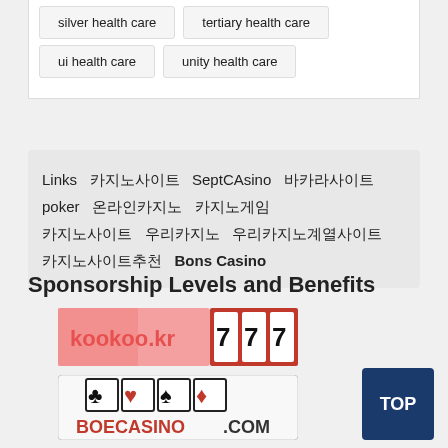silver health care
tertiary health care
ui health care
unity health care
Links  카지노사이트  SeptCAsino  바카라사이트  poker  온라인카지노  카지노게임  카지노사이트  우리카지노  우리카지노계열사이트  카지노사이트추천  Bons Casino
Sponsorship Levels and Benefits
[Figure (logo): kookoo.kr 777 banner logo with pink/red background and slot machine 777 design]
[Figure (logo): BOECASINO.COM logo with playing card suits icons (club, heart, spade, diamond)]
TOP